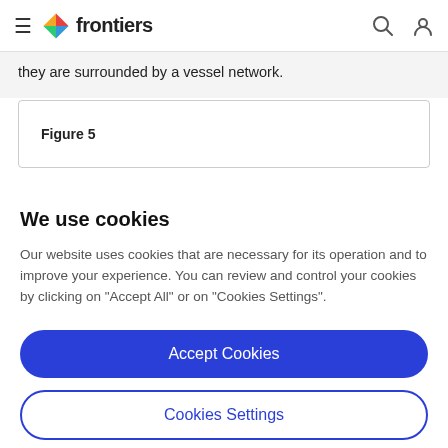frontiers
they are surrounded by a vessel network.
Figure 5
We use cookies
Our website uses cookies that are necessary for its operation and to improve your experience. You can review and control your cookies by clicking on "Accept All" or on "Cookies Settings".
Accept Cookies
Cookies Settings